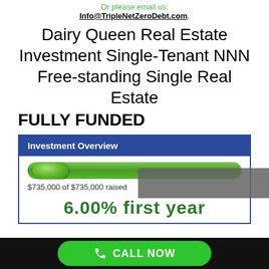Or please email us:
Info@TripleNetZeroDebt.com.
Dairy Queen Real Estate Investment Single-Tenant NNN Free-standing Single Real Estate
FULLY FUNDED
[Figure (infographic): Investment Overview box with blue header, green progress bar fully filled, text '$735,000 of $735,000 raised', and partial display of '6.00% first year']
$735,000 of $735,000 raised
6.00% first year
CALL NOW